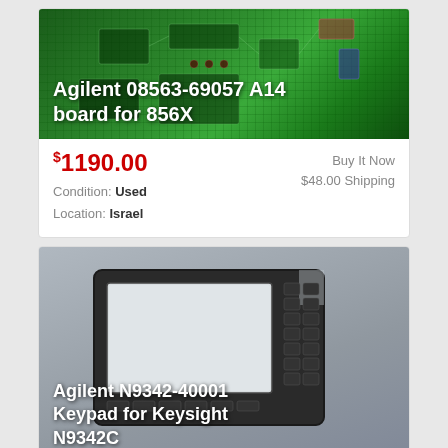[Figure (photo): Green PCB circuit board (Agilent 08563-69057 A14 board for 856X) with white text label overlaid at bottom left]
$1190.00
Buy It Now
$48.00 Shipping
Condition: Used
Location: Israel
[Figure (photo): Black keypad/front panel component (Agilent N9342-40001 Keypad for Keysight N9342C) with rectangular screen cutout and button array, on grey background]